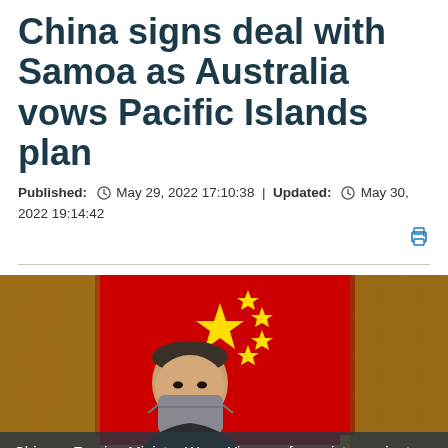China signs deal with Samoa as Australia vows Pacific Islands plan
Published: ⏱ May 29, 2022 17:10:38 | Updated: ⏱ May 30, 2022 19:14:42
[Figure (photo): Chinese Foreign Minister Wang Yi poses in front of red Chinese flag with yellow stars, wearing a grey face mask, in a formal setting with golden floral wallpaper.]
Chinese Foreign Minister Wang Yi poses for a picture prior to meeting U.S. Secretary of State